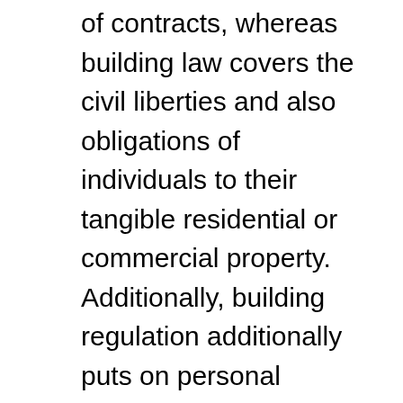of contracts, whereas building law covers the civil liberties and also obligations of individuals to their tangible residential or commercial property. Additionally, building regulation additionally puts on personal effects. People can additionally file a claim against each other over abstract property, such as a name or a photo.
United States legislation, on the other hand, concentrates on the constitution. The United States Constitution establishes the limits for government, state, and neighborhood legislation. It is considered the supreme unwritten law as well as plays a considerable duty in modern United States culture. The topic people law is